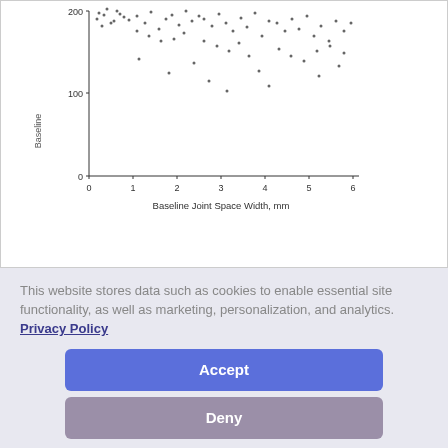[Figure (continuous-plot): Scatter plot (partial, top cropped) showing Baseline on Y-axis (values 0, 100, 200 visible) vs Baseline Joint Space Width, mm on X-axis (values 0–6). Dense cloud of data points scattered across the plot area.]
This website stores data such as cookies to enable essential site functionality, as well as marketing, personalization, and analytics. Privacy Policy